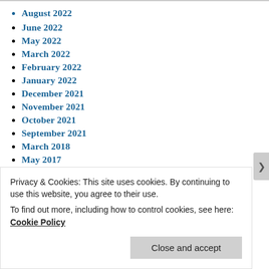August 2022
June 2022
May 2022
March 2022
February 2022
January 2022
December 2021
November 2021
October 2021
September 2021
March 2018
May 2017
April 2017
January 2017
December 2016
Privacy & Cookies: This site uses cookies. By continuing to use this website, you agree to their use. To find out more, including how to control cookies, see here: Cookie Policy